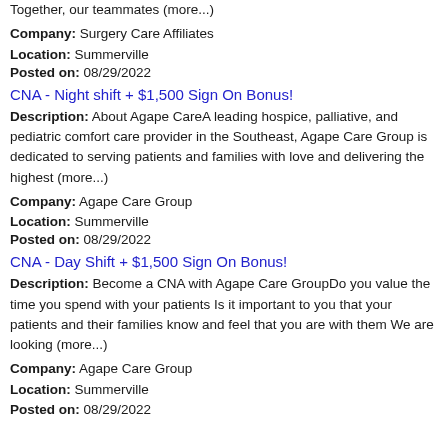Together, our teammates (more...)
Company: Surgery Care Affiliates
Location: Summerville
Posted on: 08/29/2022
CNA - Night shift + $1,500 Sign On Bonus!
Description: About Agape CareA leading hospice, palliative, and pediatric comfort care provider in the Southeast, Agape Care Group is dedicated to serving patients and families with love and delivering the highest (more...)
Company: Agape Care Group
Location: Summerville
Posted on: 08/29/2022
CNA - Day Shift + $1,500 Sign On Bonus!
Description: Become a CNA with Agape Care GroupDo you value the time you spend with your patients Is it important to you that your patients and their families know and feel that you are with them We are looking (more...)
Company: Agape Care Group
Location: Summerville
Posted on: 08/29/2022